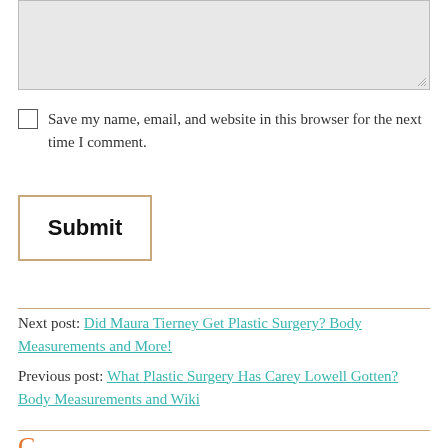[Figure (screenshot): A light grey textarea input box with resize handle in bottom right corner]
Save my name, email, and website in this browser for the next time I comment.
Submit
Next post: Did Maura Tierney Get Plastic Surgery? Body Measurements and More!
Previous post: What Plastic Surgery Has Carey Lowell Gotten? Body Measurements and Wiki